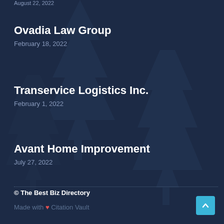August 22, 2022
Ovadia Law Group
February 18, 2022
Transervice Logistics Inc.
February 1, 2022
Avant Home Improvement
July 27, 2022
© The Best Biz Directory
Made with ❤ Citation Vault